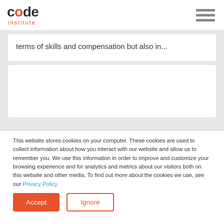[Figure (logo): Code Institute logo — 'code' in dark grey bold with 'o' highlighted in orange, 'institute' below in orange small caps]
terms of skills and compensation but also in...
This website stores cookies on your computer. These cookies are used to collect information about how you interact with our website and allow us to remember you. We use this information in order to improve and customize your browsing experience and for analytics and metrics about our visitors both on this website and other media. To find out more about the cookies we use, see our Privacy Policy.